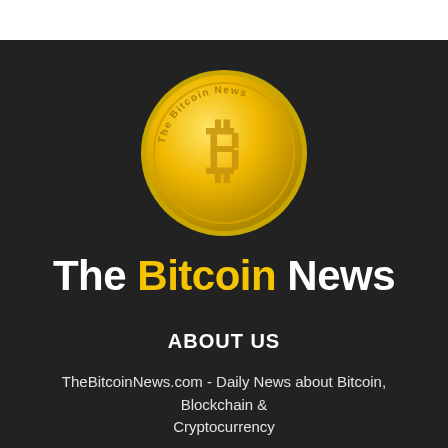[Figure (logo): The Bitcoin News circular gold coin logo with Bitcoin symbol (₿) in the center and text 'The Bitcoin News' around the rim]
The Bitcoin News
ABOUT US
TheBitcoinNews.com - Daily News about Bitcoin, Blockchain & Cryptocurrency
Contact us: contact@thebitcoinnews.com